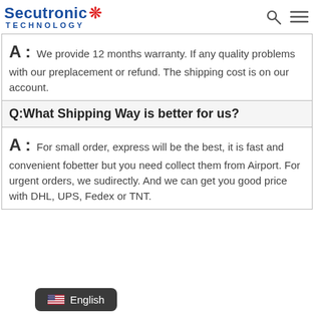Secutronic Technology
A : We provide 12 months warranty. If any quality problems with our products, we will give replacement or refund. The shipping cost is on our account.
Q:What Shipping Way is better for us?
A : For small order, express will be the best, it is fast and convenient for you. Air freight is better but you need collect them from Airport. For urgent orders, we suggest express delivery directly. And we can get you good price with DHL, UPS, Fedex or TNT.
English